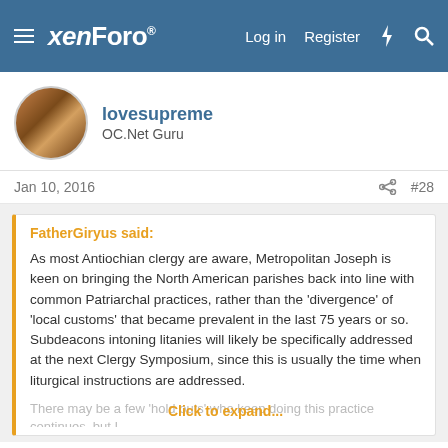xenForo — Log in   Register
lovesupreme
OC.Net Guru
Jan 10, 2016  #28
FatherGiryus said:
As most Antiochian clergy are aware, Metropolitan Joseph is keen on bringing the North American parishes back into line with common Patriarchal practices, rather than the 'divergence' of 'local customs' that became prevalent in the last 75 years or so.  Subdeacons intoning litanies will likely be specifically addressed at the next Clergy Symposium, since this is usually the time when liturgical instructions are addressed.
Click to expand...
Glad to hear your insights, Father.
mildert